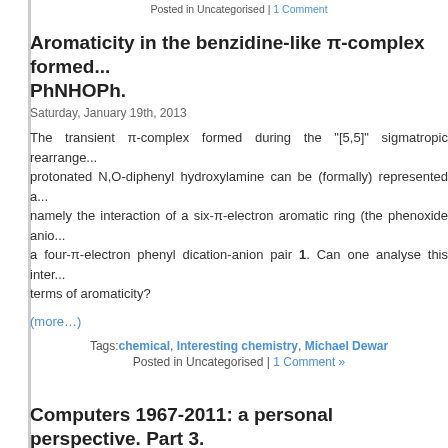Posted in Uncategorised | 1 Comment
Aromaticity in the benzidine-like π-complex formed... PhNHOPh.
Saturday, January 19th, 2013
The transient π-complex formed during the "[5,5]" sigmatropic rearrangement of protonated N,O-diphenyl hydroxylamine can be (formally) represented as namely the interaction of a six-π-electron aromatic ring (the phenoxide anion) and a four-π-electron phenyl dication-anion pair 1. Can one analyse this interaction in terms of aromaticity?
(more…)
Tags: chemical, Interesting chemistry, Michael Dewar
Posted in Uncategorised | 1 Comment »
Computers 1967-2011: a personal perspective. Part 3. 1994.
Tuesday, July 12th, 2011
In 1986 or so, molecular modelling came of age. Richard Counts, who ran an organisation called QCPE (here I had already submitted several of the codes I had worked on) had a few years before contacted me to ask for my his Roadshow. He had started these in the USA as a means of promoting which was the then main repository of chemistry codes, and as a means of